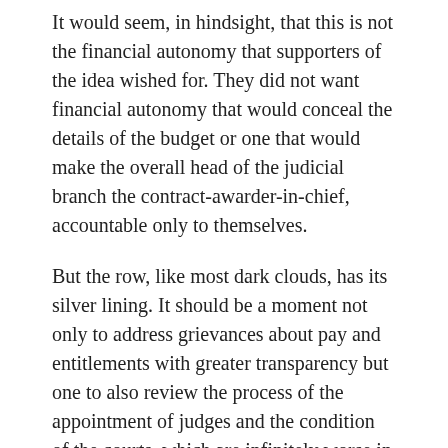It would seem, in hindsight, that this is not the financial autonomy that supporters of the idea wished for. They did not want financial autonomy that would conceal the details of the budget or one that would make the overall head of the judicial branch the contract-awarder-in-chief, accountable only to themselves.
But the row, like most dark clouds, has its silver lining. It should be a moment not only to address grievances about pay and entitlements with greater transparency but one to also review the process of the appointment of judges and the condition of the courts, which are infinitely worse in the states. It should be a moment of reflection.